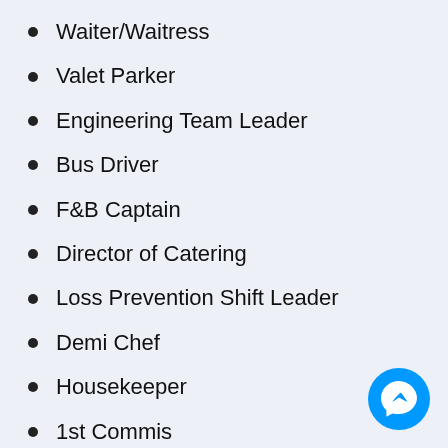Waiter/Waitress
Valet Parker
Engineering Team Leader
Bus Driver
F&B Captain
Director of Catering
Loss Prevention Shift Leader
Demi Chef
Housekeeper
1st Commis
Banquet Captain
[Figure (logo): Facebook Messenger blue circle button icon in bottom right corner]